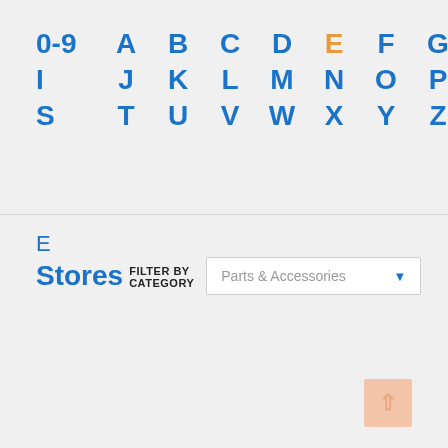0-9 A B C D E F G H I J K L M N O P Q R S T U V W X Y Z — alphabetical navigation with E highlighted
E Stores FILTER BY CATEGORY
Parts & Accessories